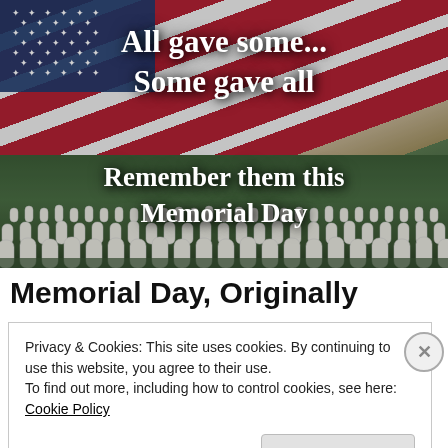[Figure (photo): Memorial Day photo composite: American flag waving at top with rows of white military headstones at a national cemetery below. Bold white text overlaid reads 'All gave some... Some gave all' at top and 'Remember them this Memorial Day' at bottom.]
Memorial Day, Originally
Privacy & Cookies: This site uses cookies. By continuing to use this website, you agree to their use.
To find out more, including how to control cookies, see here: Cookie Policy